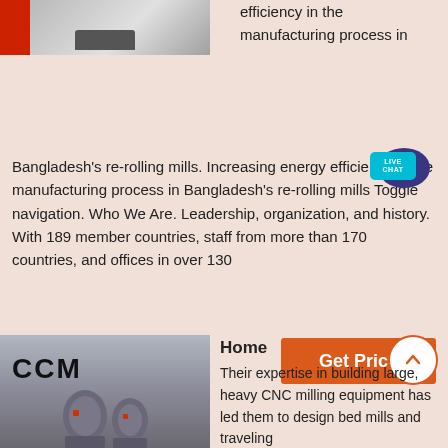[Figure (photo): Industrial equipment photo showing machinery with red component at top left, snow/grain texture visible]
efficiency in the manufacturing process in Bangladesh's re-rolling mills. Increasing energy efficiency in the manufacturing process in Bangladesh's re-rolling mills Toggle navigation. Who We Are. Leadership, organization, and history. With 189 member countries, staff from more than 170 countries, and offices in over 130
[Figure (infographic): Live Chat button bubble icon in teal and dark purple]
[Figure (photo): CCM large heavy CNC milling equipment in industrial factory setting]
Home
Their expertise in building large, heavy CNC milling equipment has led them to design bed mills and traveling